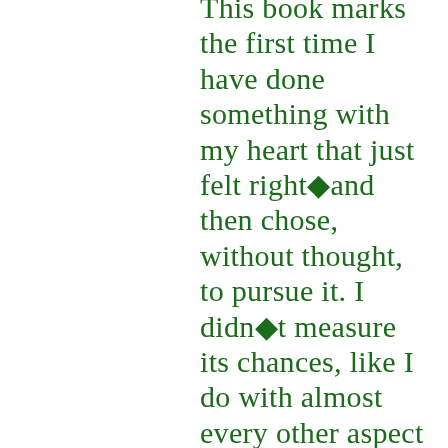This book marks the first time I have done something with my heart that just felt right◆and then chose, without thought, to pursue it. I didn◆t measure its chances, like I do with almost every other aspect of my life. I just ◆went with it.◆ When the book was rejected by an Agent for being ◆seasonal,◆ I decided to publish it myself. The Agent had only read the first three chapters. It◆s engaging at that point, but the true meaning has yet to be revealed